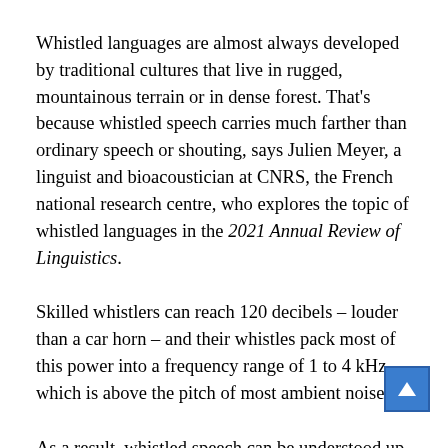Whistled languages are almost always developed by traditional cultures that live in rugged, mountainous terrain or in dense forest. That's because whistled speech carries much farther than ordinary speech or shouting, says Julien Meyer, a linguist and bioacoustician at CNRS, the French national research centre, who explores the topic of whistled languages in the 2021 Annual Review of Linguistics.
Skilled whistlers can reach 120 decibels – louder than a car horn – and their whistles pack most of this power into a frequency range of 1 to 4 kHz, which is above the pitch of most ambient noise.
As a result, whistled speech can be understood up to 10 times as far away as ordinary shouting can, Meyer and others have found. That lets people communicate even when they cannot easily approach close enough to shout